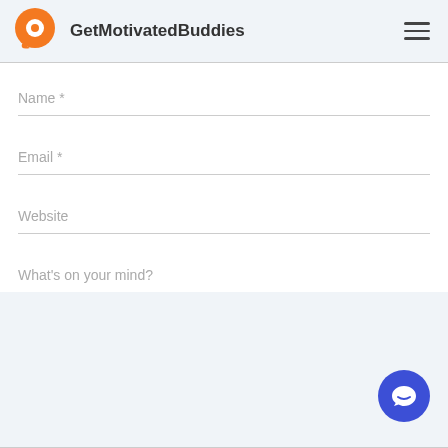[Figure (logo): GetMotivatedBuddies logo: orange circle with white inner circle and chat tail, followed by brand name text]
Name *
Email *
Website
What's on your mind?
[Figure (other): Blue circular chat button with white speech bubble icon in bottom right corner]